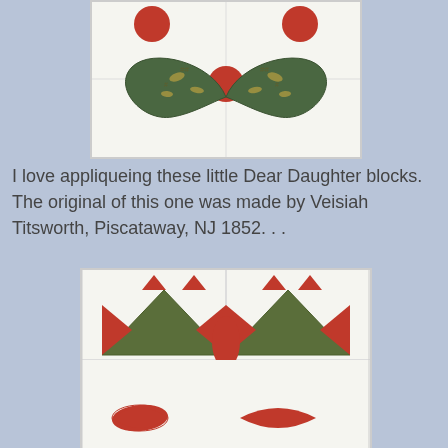[Figure (photo): Quilt block photo showing a butterfly or bow-tie applique design with dark green patterned fabric wings and red circular dots on a white fabric background.]
I love appliqueing these little Dear Daughter blocks. The original of this one was made by Veisiah Titsworth, Piscataway, NJ 1852. . .
[Figure (photo): Quilt block photo showing a Dear Daughter block pattern with dark olive green triangles and red pointed petal/leaf shapes arranged in a geometric design on white fabric.]